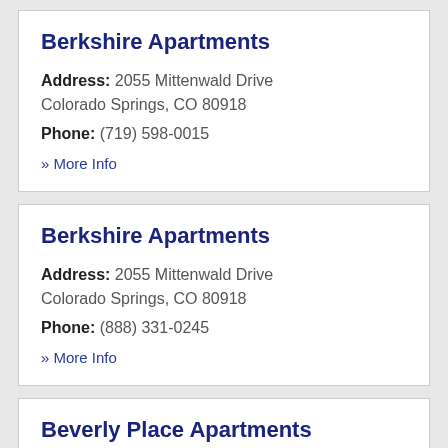Berkshire Apartments
Address: 2055 Mittenwald Drive Colorado Springs, CO 80918
Phone: (719) 598-0015
» More Info
Berkshire Apartments
Address: 2055 Mittenwald Drive Colorado Springs, CO 80918
Phone: (888) 331-0245
» More Info
Beverly Place Apartments